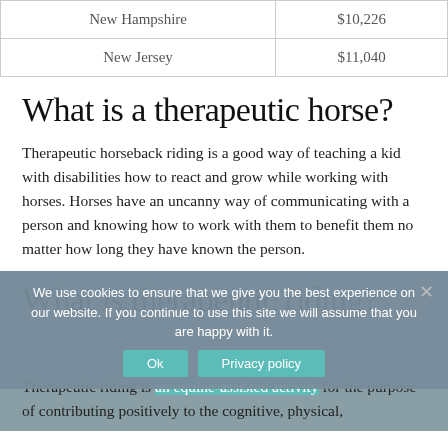| State | Cost |
| --- | --- |
| New Hampshire | $10,226 |
| New Jersey | $11,040 |
What is a therapeutic horse?
Therapeutic horseback riding is a good way of teaching a kid with disabilities how to react and grow while working with horses. Horses have an uncanny way of communicating with a person and knowing how to work with them to benefit them no matter how long they have known the person.
What is therapeutic riding?
We use cookies to ensure that we give you the best experience on our website. If you continue to use this site we will assume that you are happy with it.
Therapeutic riding is an equine-assisted activity for the purpose of contributing positively to the cognitive, physical,